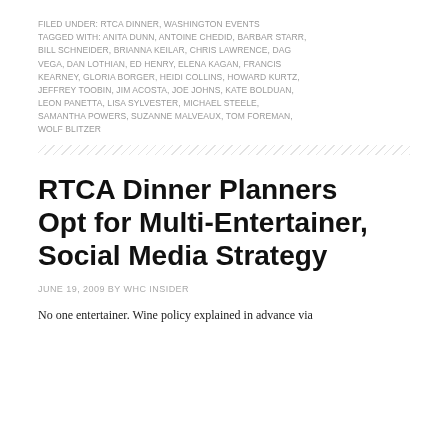FILED UNDER: RTCA DINNER, WASHINGTON EVENTS
TAGGED WITH: ANITA DUNN, ANTOINE CHEDID, BARBAR STARR, BILL SCHNEIDER, BRIANNA KEILAR, CHRIS LAWRENCE, DAG VEGA, DAN LOTHIAN, ED HENRY, ELENA KAGAN, FRANCIS KEARNEY, GLORIA BORGER, HEIDI COLLINS, HOWARD KURTZ, JEFFREY TOOBIN, JIM ACOSTA, JOE JOHNS, KATE BOLDUAN, LEON PANETTA, LISA SYLVESTER, MICHAEL STEELE, SAMANTHA POWERS, SUZANNE MALVEAUX, TOM FOREMAN, WOLF BLITZER
RTCA Dinner Planners Opt for Multi-Entertainer, Social Media Strategy
JUNE 19, 2009 BY WHC INSIDER
No one entertainer. Wine policy explained in advance via